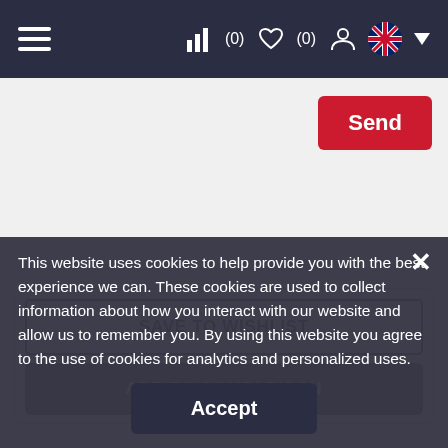≡  ıl (0) ♡(0) ⁍ 🇬🇧 ▼
[Figure (screenshot): Red Send button on light grey background with horizontal divider line]
SAVE TO WISHLIST
ADD TO COMPARISON
This website uses cookies to help provide you with the best experience we can. These cookies are used to collect information about how you interact with our website and allow us to remember you. By using this website you agree to the use of cookies for analytics and personalized uses.
Accept